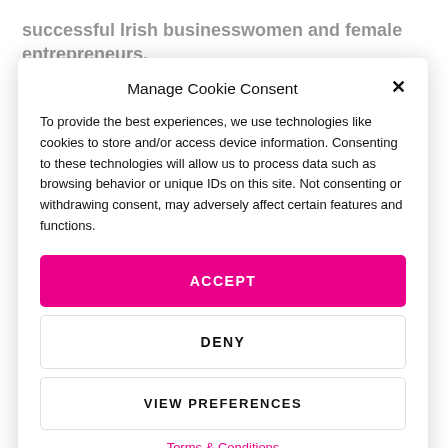successful Irish businesswomen and female entrepreneurs.
WMD CAREERS
Manage Cookie Consent
To provide the best experiences, we use technologies like cookies to store and/or access device information. Consenting to these technologies will allow us to process data such as browsing behavior or unique IDs on this site. Not consenting or withdrawing consent, may adversely affect certain features and functions.
ACCEPT
DENY
VIEW PREFERENCES
Terms & Conditions